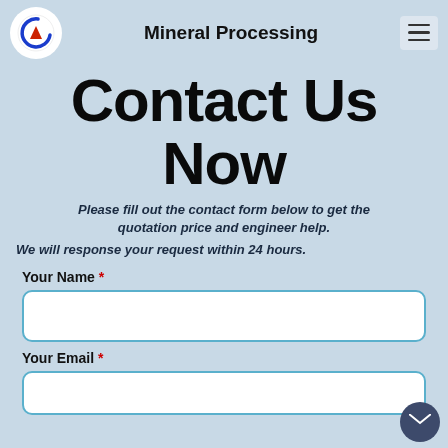Mineral Processing
Contact Us Now
Please fill out the contact form below to get the quotation price and engineer help.
We will response your request within 24 hours.
Your Name *
Your Email *